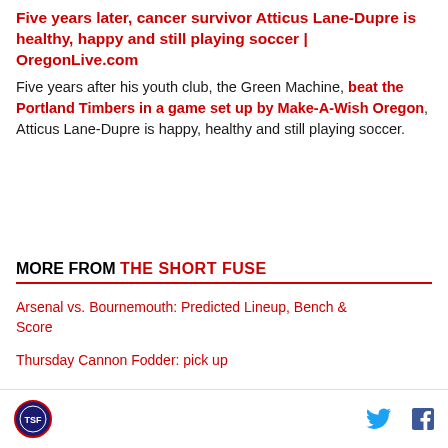Five years later, cancer survivor Atticus Lane-Dupre is healthy, happy and still playing soccer | OregonLive.com
Five years after his youth club, the Green Machine, beat the Portland Timbers in a game set up by Make-A-Wish Oregon, Atticus Lane-Dupre is happy, healthy and still playing soccer.
MORE FROM THE SHORT FUSE
Arsenal vs. Bournemouth: Predicted Lineup, Bench & Score
Thursday Cannon Fodder: pick up